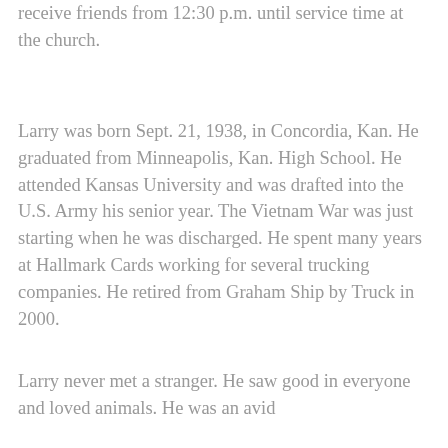receive friends from 12:30 p.m. until service time at the church.
Larry was born Sept. 21, 1938, in Concordia, Kan. He graduated from Minneapolis, Kan. High School. He attended Kansas University and was drafted into the U.S. Army his senior year. The Vietnam War was just starting when he was discharged. He spent many years at Hallmark Cards working for several trucking companies. He retired from Graham Ship by Truck in 2000.
Larry never met a stranger. He saw good in everyone and loved animals. He was an avid